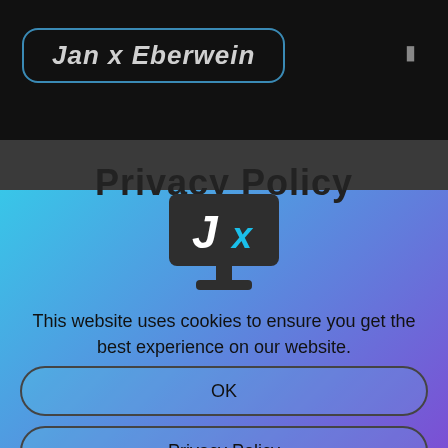Jan x Eberwein
Privacy Policy
[Figure (logo): Jan x Eberwein logo: dark monitor/screen with 'Jx' text (J in white, x in blue) on screen, monitor stand below]
This website uses cookies to ensure you get the best experience on our website.
OK
Privacy Policy